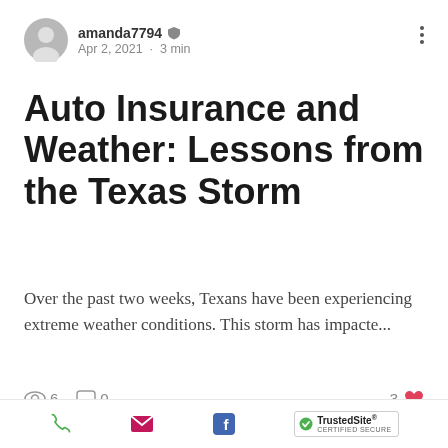amanda7794 · Apr 2, 2021 · 3 min
Auto Insurance and Weather: Lessons from the Texas Storm
Over the past two weeks, Texans have been experiencing extreme weather conditions. This storm has impacte...
6 views · 0 comments · 3 likes
[Figure (logo): Insuravita brand logo on teal/muted green background]
Phone · Email · Facebook · TrustedSite CERTIFIED SECURE